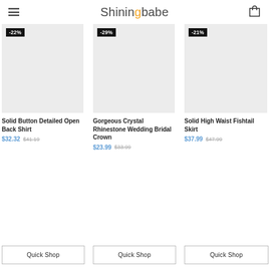Shiningbabe
[Figure (photo): Product image placeholder for Solid Button Detailed Open Back Shirt with -22% discount badge]
[Figure (photo): Product image placeholder for Gorgeous Crystal Rhinestone Wedding Bridal Crown with -29% discount badge]
[Figure (photo): Product image placeholder for Solid High Waist Fishtail Skirt with -21% discount badge]
Solid Button Detailed Open Back Shirt
Gorgeous Crystal Rhinestone Wedding Bridal Crown
Solid High Waist Fishtail Skirt
$32.32  $41.19
$23.99  $33.99
$37.99  $47.99
Quick Shop
Quick Shop
Quick Shop